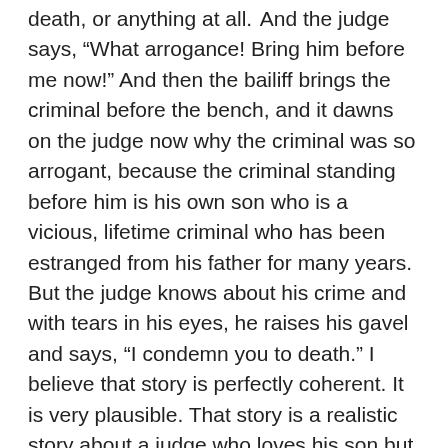death, or anything at all. And the judge says, "What arrogance! Bring him before me now!" And then the bailiff brings the criminal before the bench, and it dawns on the judge now why the criminal was so arrogant, because the criminal standing before him is his own son who is a vicious, lifetime criminal who has been estranged from his father for many years. But the judge knows about his crime and with tears in his eyes, he raises his gavel and says, "I condemn you to death." I believe that story is perfectly coherent. It is very plausible. That story is a realistic story about a judge who loves his son but yet knows that justice has to be done, and actually gives justice, I would say, as an act of love. I believe in that situation, it would actually be unloving for the judge not to punish his son, to let his son persist in thinking that there are no consequences to his evil deeds and that his...